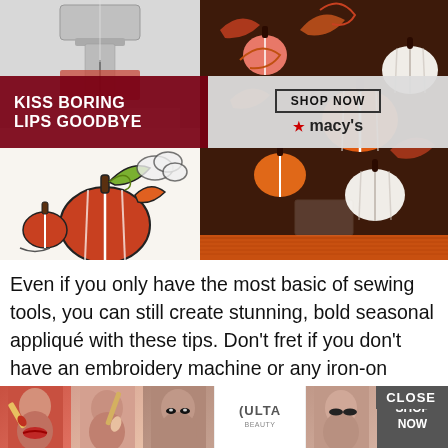[Figure (photo): Collage of three images: top-left shows a sewing machine close-up, bottom-left shows an embroidered/appliqué pumpkin design on white fabric, and the large right image shows a brown fabric with colorful pumpkin print pattern and orange trim at the bottom.]
[Figure (infographic): Macy's advertisement overlay banner: dark red left panel with text 'KISS BORING LIPS GOODBYE', right panel with 'SHOP NOW' button and Macy's star logo.]
Even if you only have the most basic of sewing tools, you can still create stunning, bold seasonal appliqué with these tips. Don't fret if you don't have an embroidery machine or any iron-on transfer paper, simply   your local fab   d up on large-pr   ng.
[Figure (infographic): ULTA beauty advertisement banner at bottom with makeup/beauty photos, ULTA logo, CLOSE button, and SHOP NOW button.]